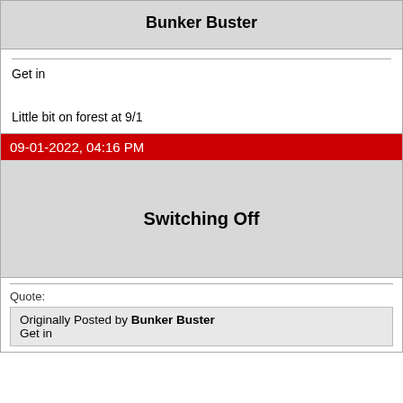Bunker Buster
Get in

Little bit on forest at 9/1
09-01-2022, 04:16 PM
Switching Off
Quote:
Originally Posted by Bunker Buster
Get in